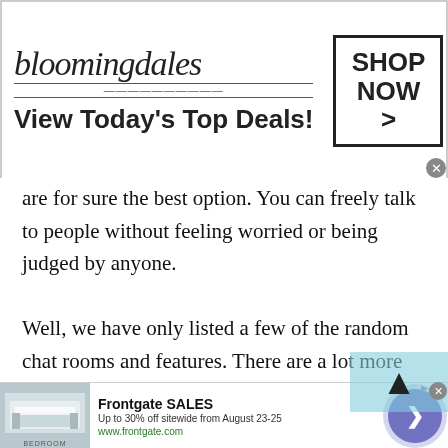[Figure (screenshot): Bloomingdale's advertisement banner with logo, model in hat, and 'SHOP NOW >' button]
are for sure the best option. You can freely talk to people without feeling worried or being judged by anyone.
Well, we have only listed a few of the random chat rooms and features. There are a lot more chat rooms and features available at Talkwithstranger app that you can simply visit here. And of course, if you want to experience the real-time online journey, you can download an app. Have a happy chat with new online friends!
[Figure (screenshot): Frontgate SALES advertisement - Up to 30% off sitewide from August 23-25, www.frontgate.com, with bedroom image and navigation button]